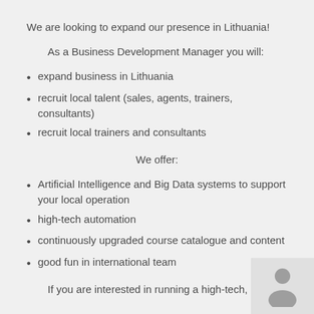We are looking to expand our presence in Lithuania!
As a Business Development Manager you will:
expand business in Lithuania
recruit local talent (sales, agents, trainers, consultants)
recruit local trainers and consultants
We offer:
Artificial Intelligence and Big Data systems to support your local operation
high-tech automation
continuously upgraded course catalogue and content
good fun in international team
If you are interested in running a high-tech, high-
[Figure (illustration): Avatar/person silhouette icon in a light grey box]